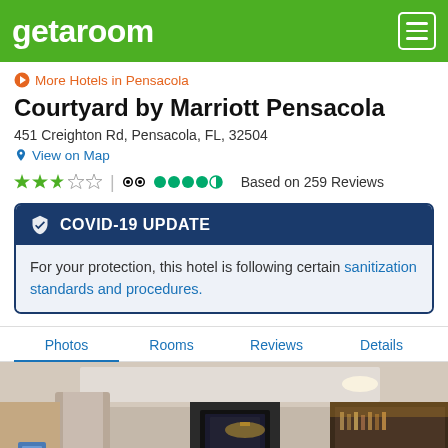getaroom
More Hotels in Pensacola
Courtyard by Marriott Pensacola
451 Creighton Rd, Pensacola, FL, 32504
View on Map
3 stars | TripAdvisor 4 circles | Based on 259 Reviews
COVID-19 UPDATE
For your protection, this hotel is following certain sanitization standards and procedures.
Photos  Rooms  Reviews  Details
[Figure (photo): Interior photo of hotel lobby showing reception area, columns, TV, and bar counter with warm lighting]